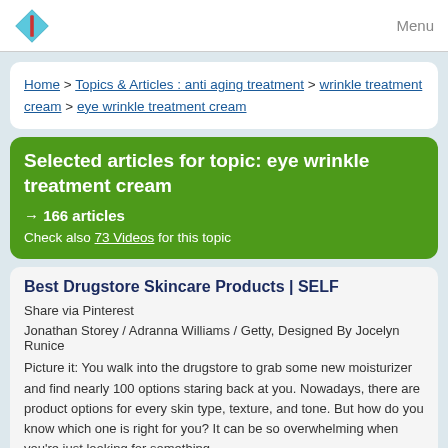Menu
Home > Topics & Articles : anti aging treatment > wrinkle treatment cream > eye wrinkle treatment cream
Selected articles for topic: eye wrinkle treatment cream
→ 166 articles
Check also 73 Videos for this topic
Best Drugstore Skincare Products | SELF
Share via Pinterest
Jonathan Storey / Adranna Williams / Getty, Designed By Jocelyn Runice
Picture it: You walk into the drugstore to grab some new moisturizer and find nearly 100 options staring back at you. Nowadays, there are product options for every skin type, texture, and tone. But how do you know which one is right for you? It can be so overwhelming when you're just looking for something...